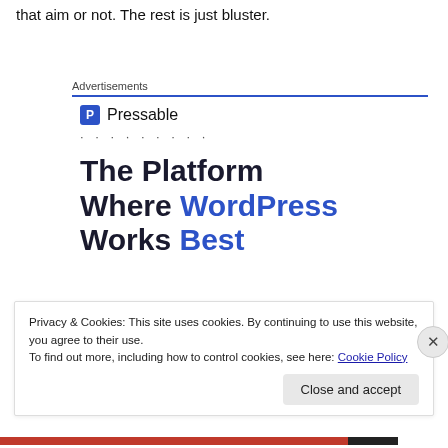that aim or not. The rest is just bluster.
Advertisements
[Figure (logo): Pressable logo: blue square icon with P letter followed by text 'Pressable']
· · · · · · · · ·
The Platform Where WordPress Works Best
Privacy & Cookies: This site uses cookies. By continuing to use this website, you agree to their use.
To find out more, including how to control cookies, see here: Cookie Policy
Close and accept